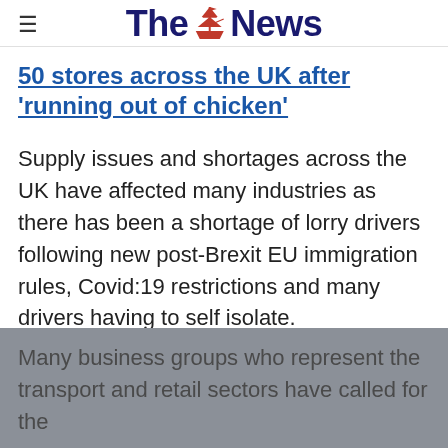The News
50 stores across the UK after 'running out of chicken'
Supply issues and shortages across the UK have affected many industries as there has been a shortage of lorry drivers following new post-Brexit EU immigration rules, Covid:19 restrictions and many drivers having to self isolate.
Many business groups who represent the transport and retail sectors have called for the